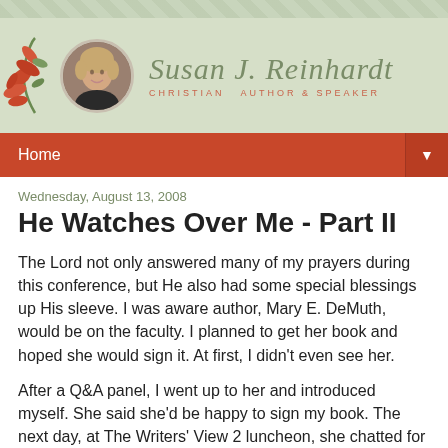[Figure (illustration): Website header banner for Susan J. Reinhardt, Christian Author & Speaker, featuring a decorative floral element with red leaves, a circular author photo portrait, and the author's name in script font on a sage green background]
Home ▼
Wednesday, August 13, 2008
He Watches Over Me - Part II
The Lord not only answered many of my prayers during this conference, but He also had some special blessings up His sleeve. I was aware author, Mary E. DeMuth, would be on the faculty. I planned to get her book and hoped she would sign it. At first, I didn't even see her.
After a Q&A panel, I went up to her and introduced myself. She said she'd be happy to sign my book. The next day, at The Writers' View 2 luncheon, she chatted for a bit and posed with me for a picture.